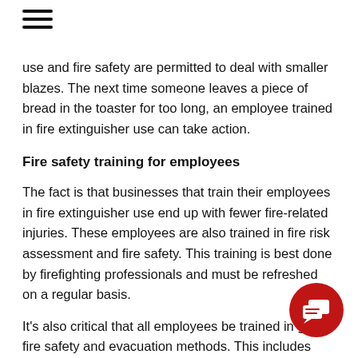[Figure (other): Hamburger menu icon (three horizontal lines)]
use and fire safety are permitted to deal with smaller blazes. The next time someone leaves a piece of bread in the toaster for too long, an employee trained in fire extinguisher use can take action.
Fire safety training for employees
The fact is that businesses that train their employees in fire extinguisher use end up with fewer fire-related injuries. These employees are also trained in fire risk assessment and fire safety. This training is best done by firefighting professionals and must be refreshed on a regular basis.
It’s also critical that all employees be trained in general fire safety and evacuation methods. This includes providing clear, well-marked routes for leaving the
[Figure (illustration): Red circular chat/message icon button in bottom right corner]